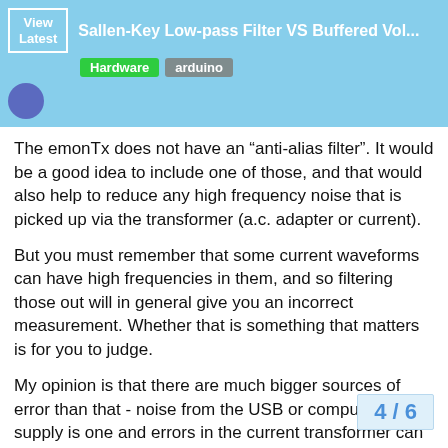Sallen-Key Low-pass Filter VS Buffered Vol...
The emonTx does not have an “anti-alias filter”. It would be a good idea to include one of those, and that would also help to reduce any high frequency noise that is picked up via the transformer (a.c. adapter or current).
But you must remember that some current waveforms can have high frequencies in them, and so filtering those out will in general give you an incorrect measurement. Whether that is something that matters is for you to judge.
My opinion is that there are much bigger sources of error than that - noise from the USB or computer power supply is one and errors in the current transformer can become significant at low currents.
If you want to add an active filter in the current input, noise from the filter itself could be a concern, because - if you use our ‘standard’ 100 A c.t. - that represents a ma kW, and many people want to measure cu
4 / 6